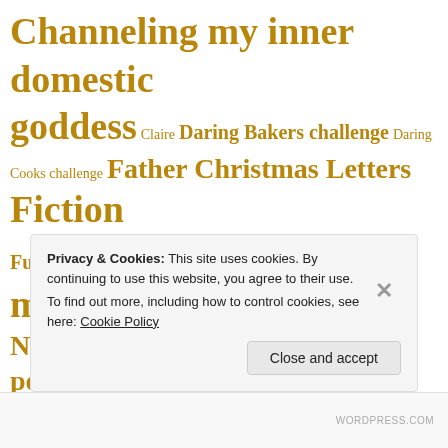Channeling my inner domestic goddess Claire Daring Bakers challenge Daring Cooks challenge Father Christmas Letters Fiction Fucking hell I'm old General madness Graphic Novels Graphic representation of the human experience Guest post Harry Potter I'm crafty! Kids' books Knitting Projects Laurie (Mom) Life at Fascist Towers Movies Music My bastard computer My boyfriend
Privacy & Cookies: This site uses cookies. By continuing to use this website, you agree to their use. To find out more, including how to control cookies, see here: Cookie Policy
Close and accept